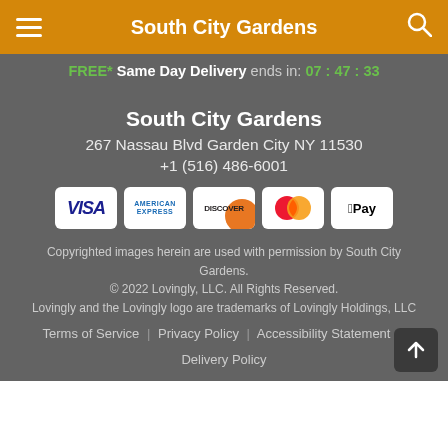South City Gardens
FREE* Same Day Delivery ends in: 07 : 47 : 33
South City Gardens
267 Nassau Blvd Garden City NY 11530
+1 (516) 486-6001
[Figure (other): Payment method icons: Visa, American Express, Discover, Mastercard, Apple Pay]
Copyrighted images herein are used with permission by South City Gardens.
© 2022 Lovingly, LLC. All Rights Reserved.
Lovingly and the Lovingly logo are trademarks of Lovingly Holdings, LLC
Terms of Service | Privacy Policy | Accessibility Statement | Delivery Policy